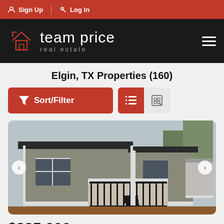Sign Up | Log In
[Figure (logo): Team Price Real Estate logo with house icon on black background]
Elgin, TX Properties (160)
[Figure (screenshot): Sort/Filter button and list/map view toggle buttons]
[Figure (photo): Exterior photo of a manufactured home with dark covered deck/porch, grey siding, and red dirt yard in Elgin TX]
$335,000
136 Monte Vista Dr...